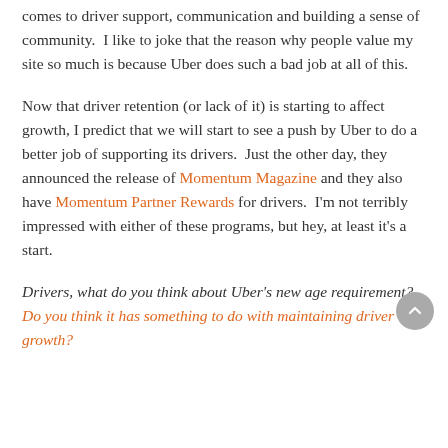comes to driver support, communication and building a sense of community.  I like to joke that the reason why people value my site so much is because Uber does such a bad job at all of this.
Now that driver retention (or lack of it) is starting to affect growth, I predict that we will start to see a push by Uber to do a better job of supporting its drivers.  Just the other day, they announced the release of Momentum Magazine and they also have Momentum Partner Rewards for drivers.  I'm not terribly impressed with either of these programs, but hey, at least it's a start.
Drivers, what do you think about Uber's new age requirement?  Do you think it has something to do with maintaining driver growth?